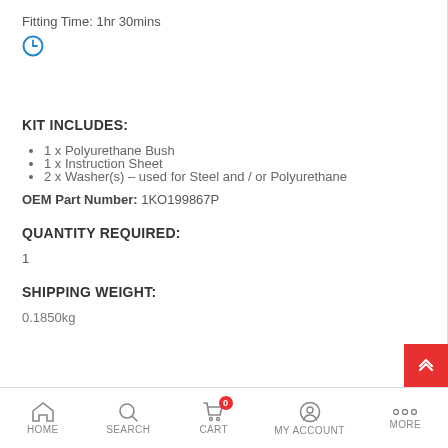Fitting Time: 1hr 30mins
[Figure (illustration): Blue clock/timer icon]
KIT INCLUDES:
1 x Polyurethane Bush
1 x Instruction Sheet
2 x Washer(s) – used for Steel and / or Polyurethane
OEM Part Number: 1KO199867P
QUANTITY REQUIRED:
1
SHIPPING WEIGHT:
0.1850kg
HOME   SEARCH   CART   MY ACCOUNT   MORE